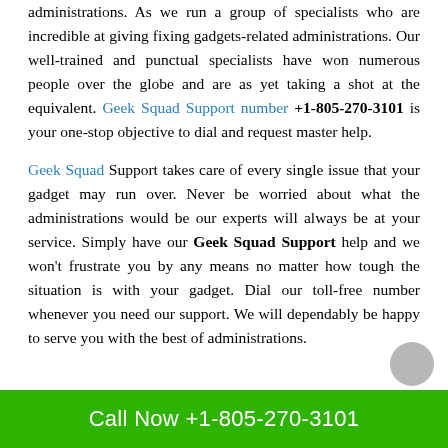administrations. As we run a group of specialists who are incredible at giving fixing gadgets-related administrations. Our well-trained and punctual specialists have won numerous people over the globe and are as yet taking a shot at the equivalent. Geek Squad Support number +1-805-270-3101 is your one-stop objective to dial and request master help.

Geek Squad Support takes care of every single issue that your gadget may run over. Never be worried about what the administrations would be our experts will always be at your service. Simply have our Geek Squad Support help and we won't frustrate you by any means no matter how tough the situation is with your gadget. Dial our toll-free number whenever you need our support. We will dependably be happy to serve you with the best of administrations.
Call Now +1-805-270-3101